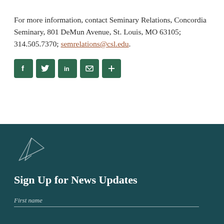For more information, contact Seminary Relations, Concordia Seminary, 801 DeMun Avenue, St. Louis, MO 63105; 314.505.7370; semrelations@csl.edu.
[Figure (infographic): Row of five dark green social media icon buttons: Facebook (f), Twitter (bird), LinkedIn (in), Email (envelope), Share (+)]
[Figure (illustration): Paper plane / send icon outline in white on dark teal background]
Sign Up for News Updates
First name